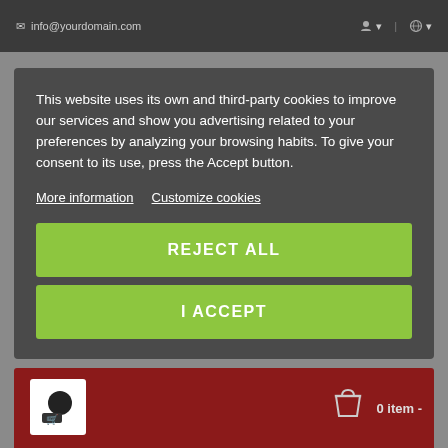info@yourdomain.com
This website uses its own and third-party cookies to improve our services and show you advertising related to your preferences by analyzing your browsing habits. To give your consent to its use, press the Accept button.
More information
Customize cookies
REJECT ALL
I ACCEPT
0 item -